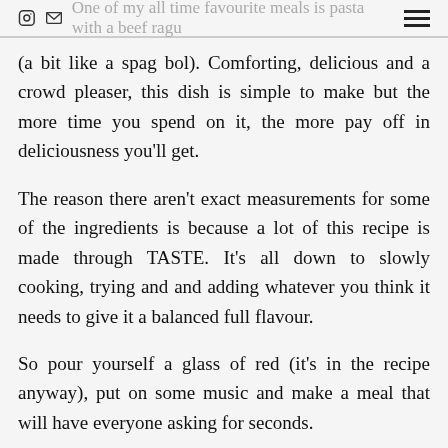[Instagram icon] [Mail icon] One of my all time favourite meals is pasta with a beef ragu [Menu icon]
(a bit like a spag bol). Comforting, delicious and a crowd pleaser, this dish is simple to make but the more time you spend on it, the more pay off in deliciousness you'll get.
The reason there aren't exact measurements for some of the ingredients is because a lot of this recipe is made through TASTE. It's all down to slowly cooking, trying and and adding whatever you think it needs to give it a balanced full flavour.
So pour yourself a glass of red (it's in the recipe anyway), put on some music and make a meal that will have everyone asking for seconds.
Serves 4